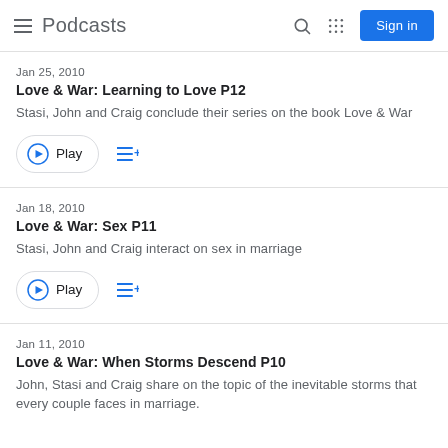Podcasts
Jan 25, 2010
Love & War: Learning to Love P12
Stasi, John and Craig conclude their series on the book Love & War
Jan 18, 2010
Love & War: Sex P11
Stasi, John and Craig interact on sex in marriage
Jan 11, 2010
Love & War: When Storms Descend P10
John, Stasi and Craig share on the topic of the inevitable storms that every couple faces in marriage.